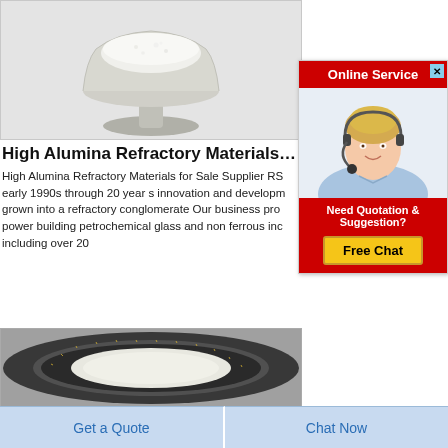[Figure (photo): White/cream powder in a glass bowl on a light gray background - high alumina refractory material product photo]
[Figure (infographic): Online Service popup with red header saying 'Online Service', photo of female customer service agent with headset, and a 'Need Quotation & Suggestion?' section with a yellow 'Free Chat' button]
High Alumina Refractory Materials For
High Alumina Refractory Materials for Sale Supplier RS early 1990s through 20 year s innovation and developm grown into a refractory conglomerate Our business pro power building petrochemical glass and non ferrous inc including over 20
[Figure (photo): Industrial circular refractory product (ring/cylinder) with measurement markings, metallic dark exterior and light ceramic interior]
Get a Quote
Chat Now